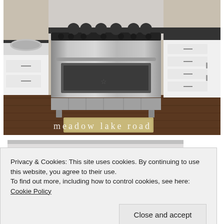[Figure (photo): Kitchen interior showing a large stainless steel BlueStar range/oven with black knobs and multiple gas burners, set between white cabinetry with dark countertops and dark wood flooring with a woven rug. Text overlay reads 'meadow lake road'.]
[Figure (photo): Partial view of another kitchen photo, mostly cut off, showing light gray/white surfaces.]
Privacy & Cookies: This site uses cookies. By continuing to use this website, you agree to their use.
To find out more, including how to control cookies, see here: Cookie Policy
[Figure (photo): Partial view of a third kitchen photo at the bottom, cut off, showing greenery and light surfaces.]